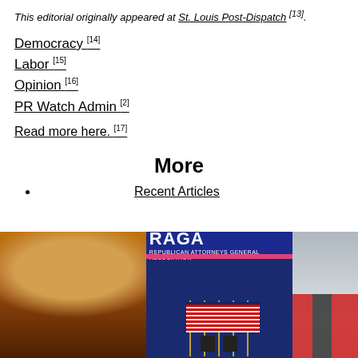This editorial originally appeared at St. Louis Post-Dispatch [13].
Democracy [14]
Labor [15]
Opinion [16]
PR Watch Admin [2]
Read more here. [17]
More
Recent Articles
[Figure (photo): Orange-tinted sky with storm clouds]
[Figure (photo): RAGA (Republican Attorneys General Association) banner with American flags on stage]
[Figure (photo): People in snow, some wearing red jackets]